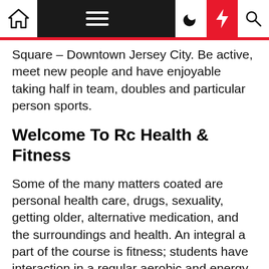Navigation bar with home, menu, moon, bolt, and search icons
Square – Downtown Jersey City. Be active, meet new people and have enjoyable taking half in team, doubles and particular person sports.
Welcome To Rc Health & Fitness
Some of the many matters coated are personal health care, drugs, sexuality, getting older, alternative medication, and the surroundings and health. An integral a part of the course is fitness; students have interaction in a regular aerobic and energy constructing fitness program, utilizing a heart rate monitor as a software. Students be taught the value of exercise for optimal mind function. This course contains a wide range of project choices, together with research, interviews, multi-media shows, introspection, and more.